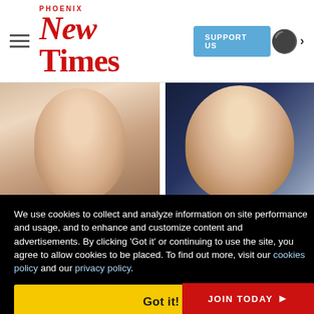Phoenix New Times — SUPPORT US
[Figure (photo): Two side-by-side photos: left shows a person's face receiving a facial treatment with white product applied; right shows a blonde woman looking at camera against dark background.]
We use cookies to collect and analyze information on site performance and usage, and to enhance and customize content and advertisements. By clicking 'Got it' or continuing to use the site, you agree to allow cookies to be placed. To find out more, visit our cookies policy and our privacy policy.
Got it!
ods' Gasp ow
ood
JOIN TODAY ▶